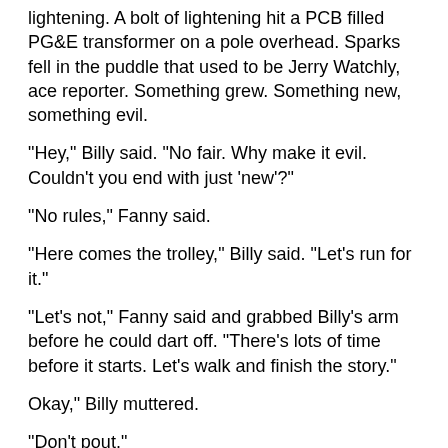lightening. A bolt of lightening hit a PCB filled PG&E transformer on a pole overhead. Sparks fell in the puddle that used to be Jerry Watchly, ace reporter. Something grew. Something new, something evil.
"Hey," Billy said. "No fair. Why make it evil. Couldn't you end with just 'new'?"
"No rules," Fanny said.
"Here comes the trolley," Billy said. "Let's run for it."
"Let's not," Fanny said and grabbed Billy's arm before he could dart off. "There's lots of time before it starts. Let's walk and finish the story."
Okay," Billy muttered.
"Don't pout."
"I'm not pouting. I'm thinking." Billy stuck his fists in his coat pockets and continued the story.
The thing grew. Green and fuzzy. It was an aggressive mold that dissolved everything in its path. All life. All metals. All stone. It grew and Terra-formed the planet into a huge, green fuzzy ball.